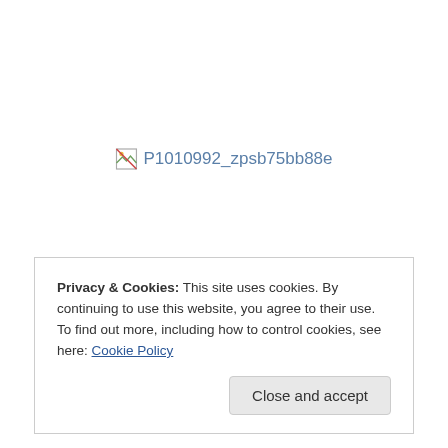[Figure (other): Broken image placeholder with alt text 'P1010992_zpsb75bb88e']
Privacy & Cookies: This site uses cookies. By continuing to use this website, you agree to their use.
To find out more, including how to control cookies, see here: Cookie Policy